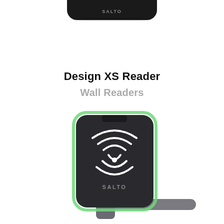[Figure (photo): Top portion of a black SALTO wall reader device, cropped at the top of the page showing just the bottom edge with 'SALTO' text label visible]
Design XS Reader
Wall Readers
[Figure (photo): SALTO Design XS Reader wall reader device in dark grey/black with green glowing border accent, featuring an RFID/NFC contactless symbol on the front face and 'SALTO' branding at the bottom. Below it is a door handle lever in chrome/silver mounted on a grey escutcheon plate.]